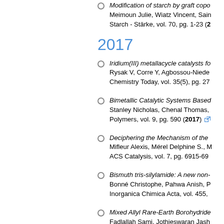Modification of starch by graft copo... Meimoun Julie, Wiatz Vincent, Sain... Starch - Stärke, vol. 70, pg. 1-23 (2...
2017
Iridium(III) metallacycle catalysts fo... Rysak V, Corre Y, Agbossou-Niede... Chemistry Today, vol. 35(5), pg. 27...
Bimetallic Catalytic Systems Based... Stanley Nicholas, Chenal Thomas,... Polymers, vol. 9, pg. 590 (2017)
Deciphering the Mechanism of the... Mifleur Alexis, Mérel Delphine S., M... ACS Catalysis, vol. 7, pg. 6915-69...
Bismuth tris-silylamide: A new non-... Bonné Christophe, Pahwa Anish, P... Inorganica Chimica Acta, vol. 455,...
Mixed Allyl Rare-Earth Borohydride... Fadlallah Sami, Jothieswaran Jash... Chemistry - A European Journal, v...
Recent Advances in Rare Earth Co... Jothieswaran Jashvini, Fadlallah S... Catalysts, vol. 7, pg. 378 (2017)
Silica-Grafted Lanthanum Benzyl-...